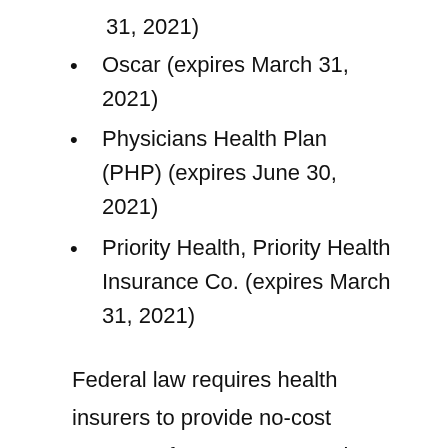31, 2021)
Oscar (expires March 31, 2021)
Physicians Health Plan (PHP) (expires June 30, 2021)
Priority Health, Priority Health Insurance Co. (expires March 31, 2021)
Federal law requires health insurers to provide no-cost coverage for COVID-19 testing and vaccinations, though not necessarily for COVID-19 treatment, during the federal public health